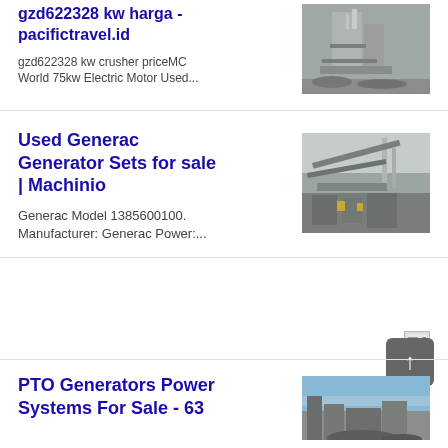gzd622328 kw harga - pacifictravel.id
gzd622328 kw crusher priceMC World 75kw Electric Motor Used...
[Figure (photo): Industrial crusher or processing plant machinery, grey metal structures]
Used Generac Generator Sets for sale | Machinio
Generac Model 1385600100. Manufacturer: Generac Power:....
[Figure (photo): Industrial conveyor or mining equipment, large metal structures outdoors]
PTO Generators Power Systems For Sale - 63